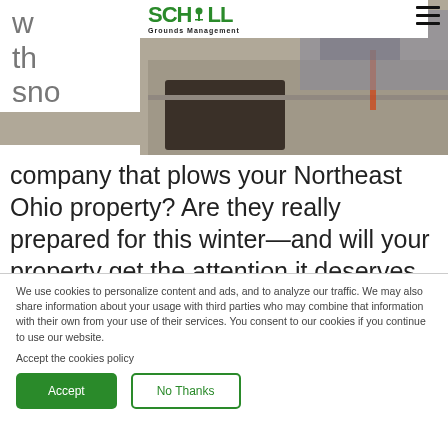[Figure (screenshot): Website screenshot of Schill Grounds Management page with hero image of snow removal equipment/truck]
SCHILL Grounds Management
w th sno w removal company that plows your Northeast Ohio property? Are they really prepared for this winter—and will your property get the attention it deserves during
We use cookies to personalize content and ads, and to analyze our traffic. We may also share information about your usage with third parties who may combine that information with their own from your use of their services. You consent to our cookies if you continue to use our website.
Accept the cookies policy
Accept
No Thanks